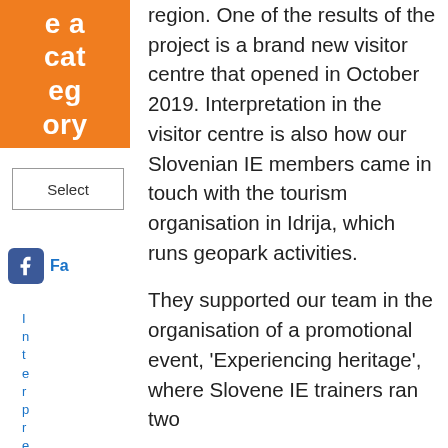[Figure (other): Orange category label box with white bold text reading 'e a cat eg ory']
[Figure (screenshot): Select dropdown UI element]
[Figure (other): Facebook icon with partial text 'Fa' in blue]
I r t e r p r e t
region. One of the results of the project is a brand new visitor centre that opened in October 2019. Interpretation in the visitor centre is also how our Slovenian IE members came in touch with the tourism organisation in Idrija, which runs geopark activities.

They supported our team in the organisation of a promotional event, 'Experiencing heritage', where Slovene IE trainers ran two